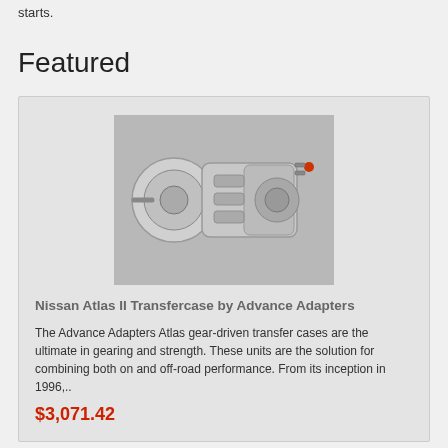starts.
Featured
[Figure (photo): Photo of a Nissan Atlas II Transfercase by Advance Adapters — a polished aluminum gear-driven transfer case unit with visible mechanical components]
Nissan Atlas II Transfercase by Advance Adapters
The Advance Adapters Atlas gear-driven transfer cases are the ultimate in gearing and strength. These units are the solution for combining both on and off-road performance. From its inception in 1996,..
$3,071.42